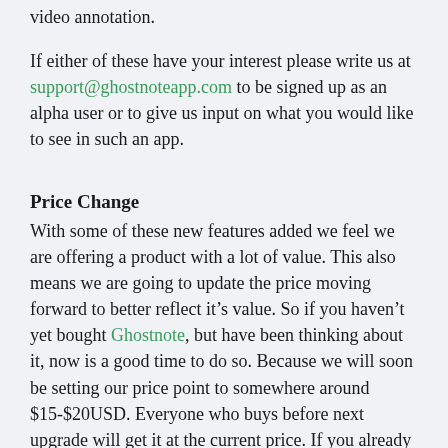video annotation.
If either of these have your interest please write us at support@ghostnoteapp.com to be signed up as an alpha user or to give us input on what you would like to see in such an app.
Price Change
With some of these new features added we feel we are offering a product with a lot of value. This also means we are going to update the price moving forward to better reflect it’s value. So if you haven’t yet bought Ghostnote, but have been thinking about it, now is a good time to do so. Because we will soon be setting our price point to somewhere around $15-$20USD. Everyone who buys before next upgrade will get it at the current price. If you already bought it you won’t be